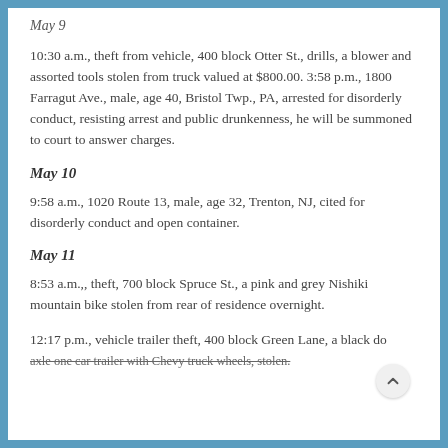May 9
10:30 a.m., theft from vehicle, 400 block Otter St., drills, a blower and assorted tools stolen from truck valued at $800.00. 3:58 p.m., 1800 Farragut Ave., male, age 40, Bristol Twp., PA, arrested for disorderly conduct, resisting arrest and public drunkenness, he will be summoned to court to answer charges.
May 10
9:58 a.m., 1020 Route 13, male, age 32, Trenton, NJ, cited for disorderly conduct and open container.
May 11
8:53 a.m.,, theft, 700 block Spruce St., a pink and grey Nishiki mountain bike stolen from rear of residence overnight.
12:17 p.m., vehicle trailer theft, 400 block Green Lane, a black do axle one car trailer with Chevy truck wheels, stolen.